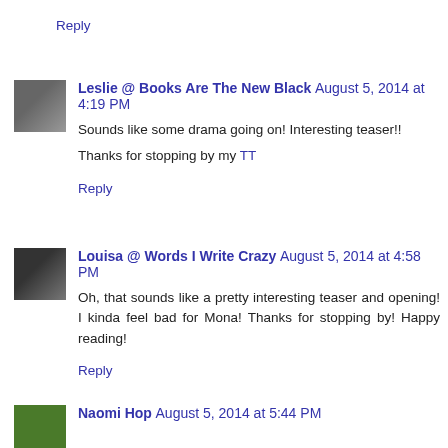Reply
Leslie @ Books Are The New Black  August 5, 2014 at 4:19 PM
Sounds like some drama going on! Interesting teaser!!
Thanks for stopping by my TT
Reply
Louisa @ Words I Write Crazy  August 5, 2014 at 4:58 PM
Oh, that sounds like a pretty interesting teaser and opening! I kinda feel bad for Mona! Thanks for stopping by! Happy reading!
Reply
Naomi Hop  August 5, 2014 at 5:44 PM